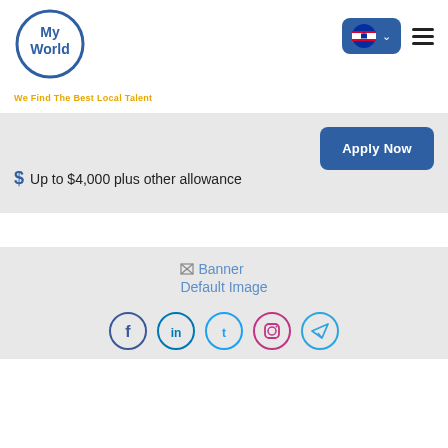[Figure (logo): MyWorld logo — blue circle with 'My World' text in blue]
We Find The Best Local Talent
[Figure (screenshot): Language selector button with Cambodia flag and dropdown chevron, plus hamburger menu icon]
Apply Now
$ Up to $4,000 plus other allowance
[Figure (illustration): Broken image placeholder with text 'Banner Default Image']
[Figure (illustration): Social media icons row: Facebook, LinkedIn, Twitter, Instagram, Telegram]